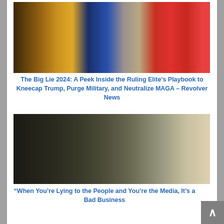[Figure (photo): Collage of political images including military scene with explosion, a woman, a man on a throne-like chair, and a man bowing near American flags and Trump signage]
The Big Lie 2024: A Peek Inside the Ruling Elite's Playbook to Kneecap Trump, Purge Military, and Neutralize MAGA – Revolver News
[Figure (photo): Person in black blazer walking outdoors with another person's hair visible in foreground]
“When You’re Lying to the People and You’re the Media, It’s a Bad Business